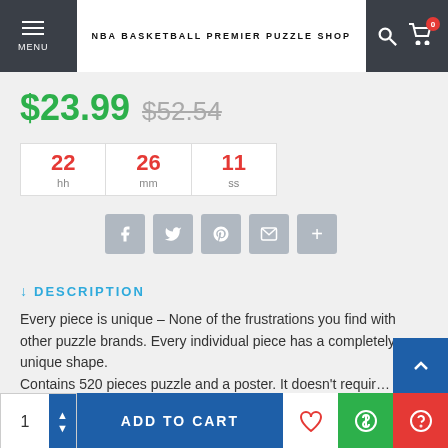MENU | NBA BASKETBALL PREMIER PUZZLE SHOP
$23.99  $52.54
22 hh  26 mm  11 ss
↓ DESCRIPTION
Every piece is unique – None of the frustrations you find with other puzzle brands. Every individual piece has a completely unique shape.
Contains 520 pieces puzzle and a poster. It doesn't requir…
1  ADD TO CART